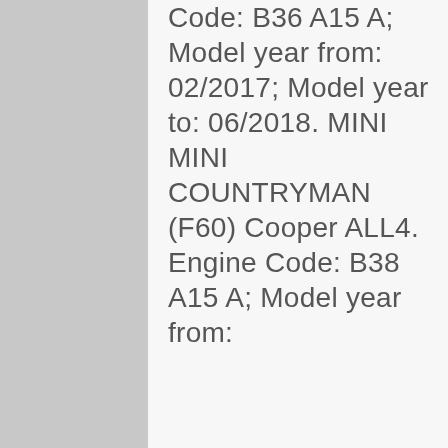Code: B36 A15 A; Model year from: 02/2017; Model year to: 06/2018. MINI MINI COUNTRYMAN (F60) Cooper ALL4. Engine Code: B38 A15 A; Model year from: